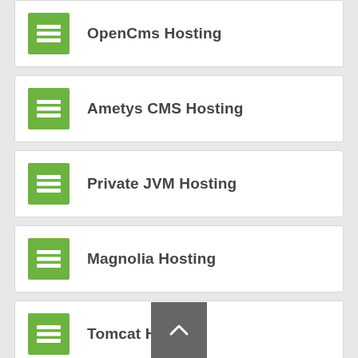OpenCms Hosting
Ametys CMS Hosting
Private JVM Hosting
Magnolia Hosting
Tomcat Hosting
eXo Platform Hosting